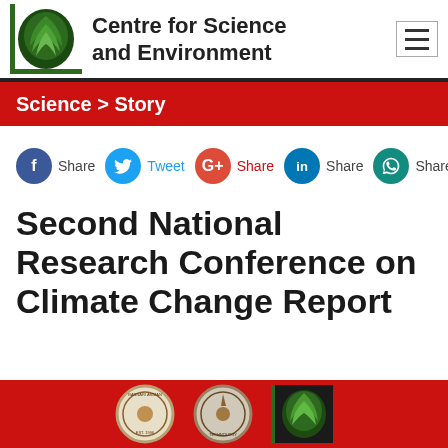Centre for Science and Environment
Science > Story
[Figure (infographic): Social share buttons: Facebook Share, Twitter Tweet, Google+ Share, LinkedIn Share, WhatsApp Share]
Second National Research Conference on Climate Change Report
[Figure (photo): Bottom image strip showing institutional emblems/logos on red background including two circular seals and CSE logo]